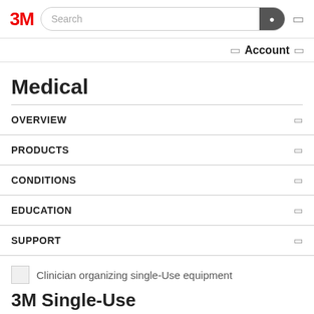3M | Search
Account
Medical
OVERVIEW
PRODUCTS
CONDITIONS
EDUCATION
SUPPORT
Clinician organizing single-Use equipment
3M Single-Use